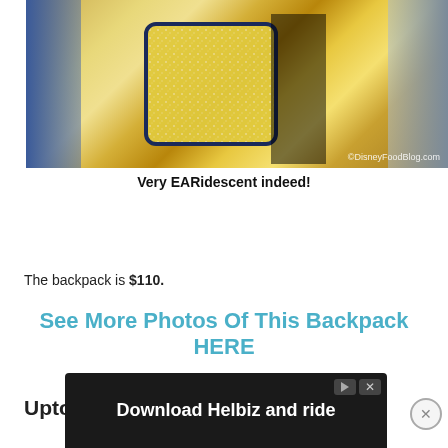[Figure (photo): A person holding a gold/iridescent glittery backpack. Blue and gold background elements visible. Watermark: ©DisneyFoodBlog.com]
Very EARidescent indeed!
The backpack is $110.
See More Photos Of This Backpack HERE
Uptown Jewelers
The BaubleBar Castle Earrings are back in stock.
[Figure (screenshot): Advertisement banner: Download Helbiz and ride]